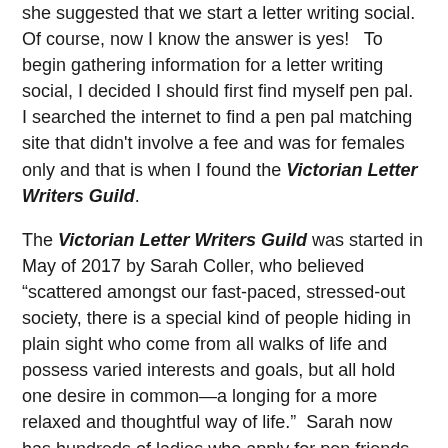she suggested that we start a letter writing social.  Of course, now I know the answer is yes!   To begin gathering information for a letter writing social, I decided I should first find myself pen pal.  I searched the internet to find a pen pal matching site that didn't involve a fee and was for females only and that is when I found the Victorian Letter Writers Guild.
The Victorian Letter Writers Guild was started in May of 2017 by Sarah Coller, who believed "scattered amongst our fast-paced, stressed-out society, there is a special kind of people hiding in plain sight who come from all walks of life and possess varied interests and goals, but all hold one desire in common—a longing for a more relaxed and thoughtful way of life."  Sarah now has hundreds of ladies who apply for pen friends both domestically and internationally.
Sign up at victorianletterwritersguild.blogspot.com not only to be notified of quarterly pen pal matches but also for birthday and holiday card exchanges.